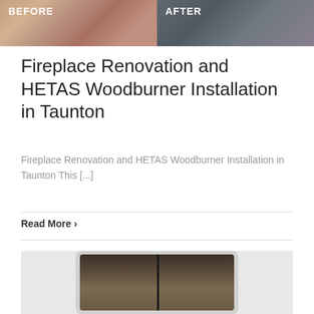[Figure (photo): Before and after comparison photo of a fireplace renovation, with 'BEFORE' label on left half and 'AFTER' label on right half]
Fireplace Renovation and HETAS Woodburner Installation in Taunton
Fireplace Renovation and HETAS Woodburner Installation in Taunton This [...]
Read More >
[Figure (photo): Photo of a white-framed woodburning stove with dark interior showing brick lining, viewed from the front]